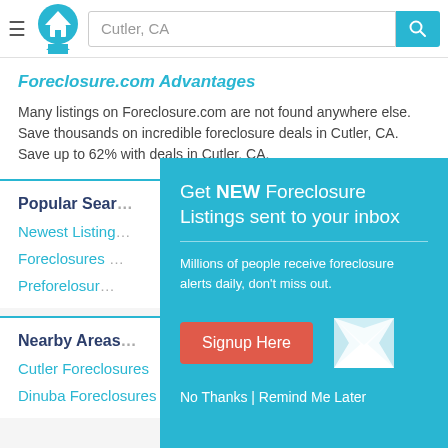Cutler, CA [search bar with logo]
Foreclosure.com Advantages
Many listings on Foreclosure.com are not found anywhere else. Save thousands on incredible foreclosure deals in Cutler, CA. Save up to 62% with deals in Cutler, CA.
Popular Searches
Newest Listings
Foreclosures
Preforeclosures
Nearby Areas
Cutler Foreclosures
Dinuba Foreclosures
[Figure (screenshot): Modal popup with teal background: 'Get NEW Foreclosure Listings sent to your inbox. Millions of people receive foreclosure alerts daily, don't miss out.' with Signup Here button and envelope icon. Footer: No Thanks | Remind Me Later]